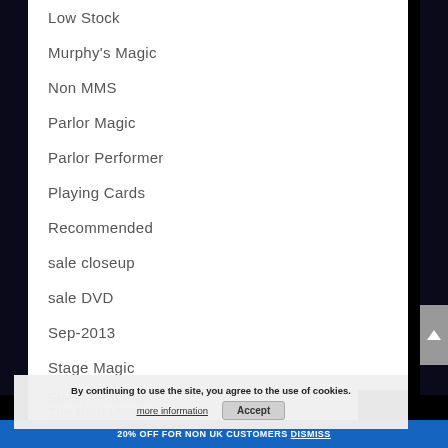Low Stock
Murphy's Magic
Non MMS
Parlor Magic
Parlor Performer
Playing Cards
Recommended
sale closeup
sale DVD
Sep-2013
Stage Magic
Street Magic
Street Performer
The Real Move
By continuing to use the site, you agree to the use of cookies.
more information   Accept
20% OFF FOR NON UK CUSTOMERS Dismiss